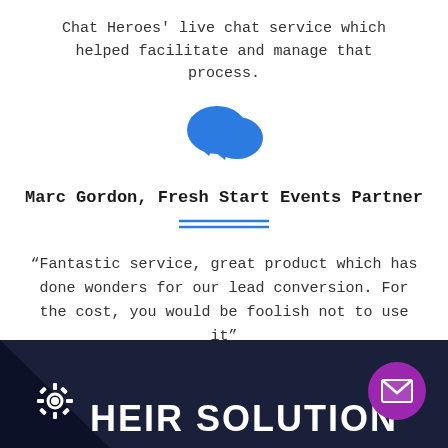Chat Heroes' live chat service which helped facilitate and manage that process.
[Figure (illustration): Two blue speech bubble chat icons overlapping, representing live chat service.]
Marc Gordon, Fresh Start Events Partner
“Fantastic service, great product which has done wonders for our lead conversion. For the cost, you would be foolish not to use it”
[Figure (illustration): Dark navy background section with white bold text 'THEIR SOLUTION', a gear/cog icon on the left, and a purple circular mail/envelope button on the right.]